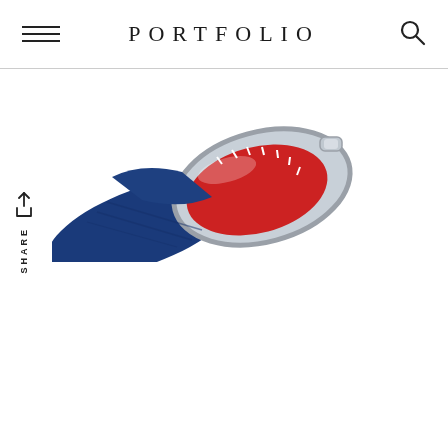PORTFOLIO
[Figure (photo): Close-up side view of a luxury watch with a silver case, red and blue dial, and blue fabric strap, shot at an angle showing the crown.]
SHARE